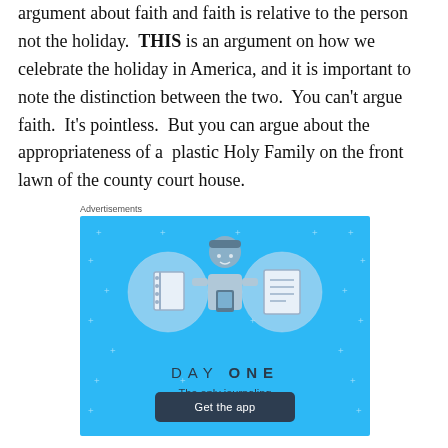argument about faith and faith is relative to the person not the holiday. THIS is an argument on how we celebrate the holiday in America, and it is important to note the distinction between the two. You can't argue faith. It's pointless. But you can argue about the appropriateness of a plastic Holy Family on the front lawn of the county court house.
Advertisements
[Figure (illustration): Day One journaling app advertisement on blue background. Shows illustrated icons of a notebook and a list/document flanking a cartoon person holding a phone. Text reads 'DAY ONE' and 'The only journaling app you'll ever need.' with a 'Get the app' button.]